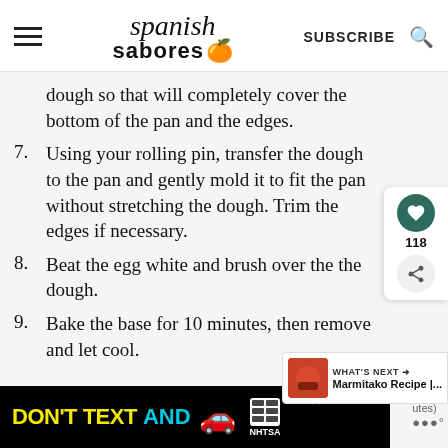spanish sabores — SUBSCRIBE
dough so that will completely cover the bottom of the pan and the edges.
7. Using your rolling pin, transfer the dough to the pan and gently mold it to fit the pan without stretching the dough. Trim the edges if necessary.
8. Beat the egg white and brush over the the dough.
9. Bake the base for 10 minutes, then remove and let cool.
[Figure (screenshot): DON'T TEXT AND [car emoji] advertisement banner — NHTSA ad]
[Figure (infographic): Social panel with heart button (118 likes) and share button; What's Next panel with Marmitako Recipe thumbnail]